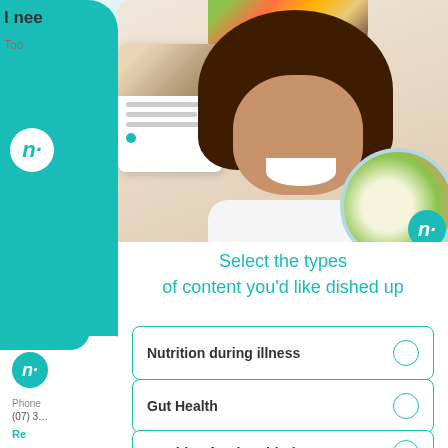[Figure (screenshot): App modal screenshot showing a smiling woman with curly hair, a plate of salad, thumbnail content card, and a nutrition content selection interface]
Select the types of content you'd like dished up
Nutrition during illness
Gut Health
Nutrition for the Elderly